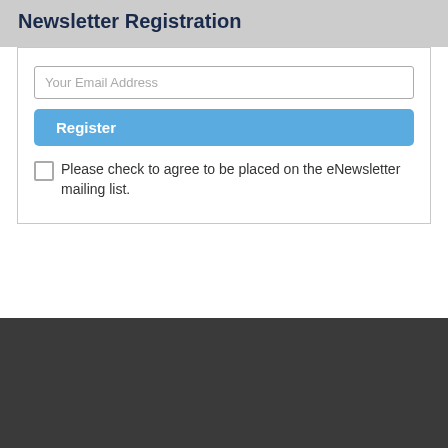Newsletter Registration
Your Email Address
Register
Please check to agree to be placed on the eNewsletter mailing list.